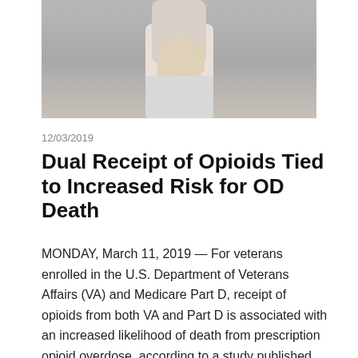[Figure (photo): Partial image of a hand/arm, cropped at top of page]
12/03/2019
Dual Receipt of Opioids Tied to Increased Risk for OD Death
MONDAY, March 11, 2019 — For veterans enrolled in the U.S. Department of Veterans Affairs (VA) and Medicare Part D, receipt of opioids from both VA and Part D is associated with an increased likelihood of death from prescription opioid overdose, according to a study published online March 12 in the Annals of Internal Medicine.